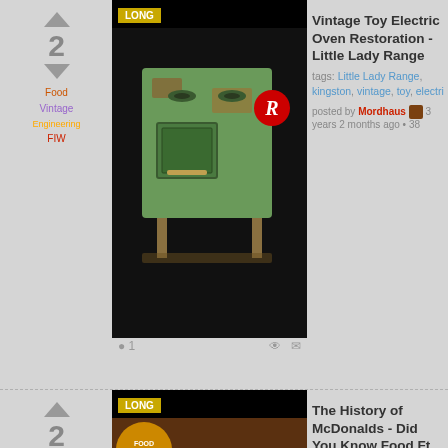[Figure (screenshot): Partial post at top: thumbnail image (gray), comment count 2, eye icon, mail icon]
Vintage Toy Electric Oven Restoration - Little Lady Range | tags: Little Lady Range, kingston, vintage, toy, electri... | posted by Mordhaus 3 years 2 months ago • 38 [views] | 1 comment | vote: 2
The History of McDonalds - Did You Know Food Ft. Dazz | tags: McDonaldsm, McDs, MickeyDs, Did You Know Food, documentary, fast food, eat | "... This time on Did You Know Food, we cover the history of McDonald's, including how it started out as a hot dog stand, how the company restructured to focus on burgers, fries ar... reading | posted by ant 3 years 8 months ago • 18 views | 1 comment | vote: 2
LEGO The Truth About Ewoks | SHORT badge